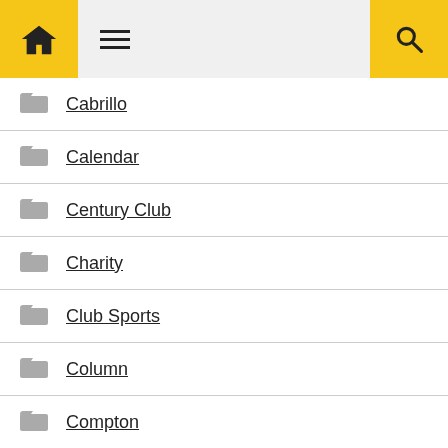Home / Menu / Search
Cabrillo
Calendar
Century Club
Charity
Club Sports
Column
Compton
COVID-19
Cross Country